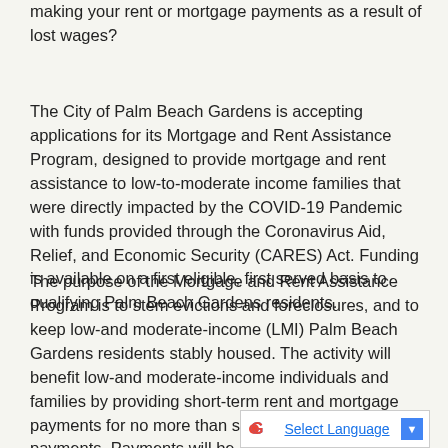making your rent or mortgage payments as a result of lost wages?
The City of Palm Beach Gardens is accepting applications for its Mortgage and Rent Assistance Program, designed to provide mortgage and rent assistance to low-to-moderate income families that were directly impacted by the COVID-19 Pandemic with funds provided through the Coronavirus Aid, Relief, and Economic Security (CARES) Act. Funding is available on a first eligible, first served basis to qualifying Palm Beach Gardens residents.
The purpose of the Mortgage and Rent Assistance Program is to stem evictions and foreclosures, and to keep low-and moderate-income (LMI) Palm Beach Gardens residents stably housed. The activity will benefit low-and moderate-income individuals and families by providing short-term rent and mortgage payments for no more than six months of consecutive payments. Payments will be made directly to landlords and mortgage companies in all cases.